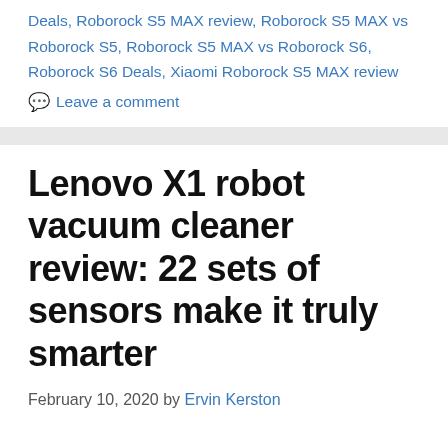Deals, Roborock S5 MAX review, Roborock S5 MAX vs Roborock S5, Roborock S5 MAX vs Roborock S6, Roborock S6 Deals, Xiaomi Roborock S5 MAX review
💬 Leave a comment
Lenovo X1 robot vacuum cleaner review: 22 sets of sensors make it truly smarter
February 10, 2020 by Ervin Kerston